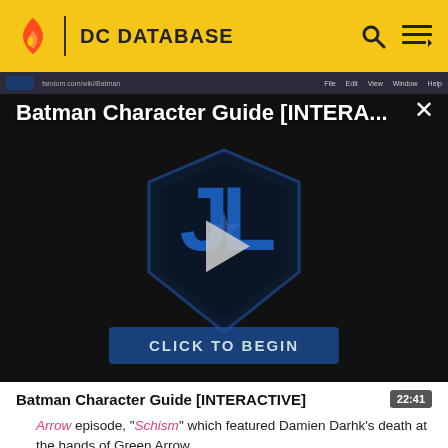DC DATABASE
[Figure (screenshot): Video player showing Batman Character Guide [INTERACTIVE] with a Justice League logo and play button. A 'CLICK TO BEGIN' button is visible at the bottom of the video.]
Batman Character Guide [INTERACTIVE]
Arrow episode, "Schism" which featured Damien Darhk's death at the hands of Green Arrow.
Post-Flashpoint Thawne is revealed to be running away from the former Zoom, Hunter Zolomon, who